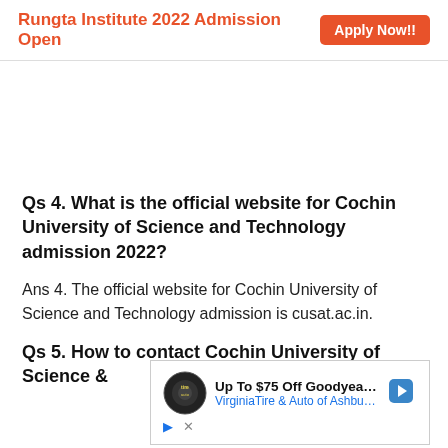Rungta Institute 2022 Admission Open   Apply Now!!
Qs 4. What is the official website for Cochin University of Science and Technology admission 2022?
Ans 4. The official website for Cochin University of Science and Technology admission is cusat.ac.in.
Qs 5. How to contact Cochin University of Science &
[Figure (other): Advertisement banner: Up To $75 Off Goodyear Tires - VirginiaTire & Auto of Ashburn Fa. with tire logo and navigation arrow icon]